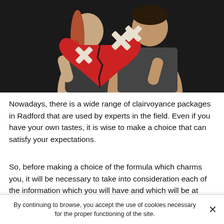[Figure (photo): A couple holding a large red broken heart shape taped together with white tape/bandages, against a dark background. The woman has a red/orange braid and the man wears a dark grey t-shirt.]
Nowadays, there is a wide range of clairvoyance packages in Radford that are used by experts in the field. Even if you have your own tastes, it is wise to make a choice that can satisfy your expectations.
So, before making a choice of the formula which charms you, it will be necessary to take into consideration each of the information which you will have and which will be at
By continuing to browse, you accept the use of cookies necessary for the proper functioning of the site.